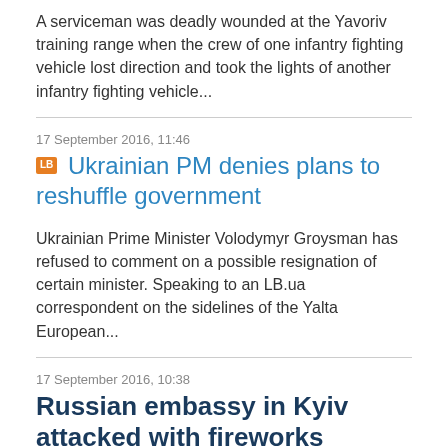A serviceman was deadly wounded at the Yavoriv training range when the crew of one infantry fighting vehicle lost direction and took the lights of another infantry fighting vehicle...
17 September 2016, 11:46
Ukrainian PM denies plans to reshuffle government
Ukrainian Prime Minister Volodymyr Groysman has refused to comment on a possible resignation of certain minister. Speaking to an LB.ua correspondent on the sidelines of the Yalta European...
17 September 2016, 10:38
Russian embassy in Kyiv attacked with fireworks
Around 20 people wearing balaclavas fired with a firework pack on the embassy of Russia in Kyiv in the early hours of 17 September. The Kyiv police said the building sustained minor...
16 September 2016, 07:32